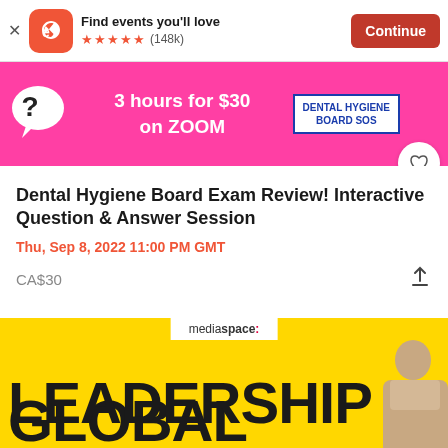[Figure (screenshot): Eventbrite app install banner with logo, 5-star rating (148k reviews), and Continue button]
[Figure (infographic): Pink advertisement banner: 3 hours for $30 on ZOOM, Dental Hygiene Board SOS]
Dental Hygiene Board Exam Review! Interactive Question & Answer Session
Thu, Sep 8, 2022 11:00 PM GMT
CA$30
[Figure (infographic): Yellow advertisement banner: mediaspace: GLOBAL LEADERSHIP with person photo]